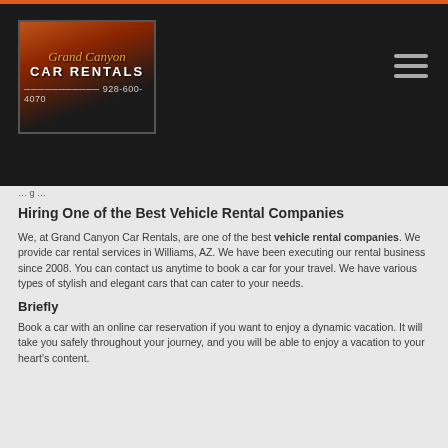[Figure (logo): Grand Canyon Car Rentals logo with phone number 928-600-4070 on dark background navigation bar]
...
Hiring One of the Best Vehicle Rental Companies
We, at Grand Canyon Car Rentals, are one of the best vehicle rental companies. We provide car rental services in Williams, AZ. We have been executing our rental business since 2008. You can contact us anytime to book a car for your travel. We have various types of stylish and elegant cars that can cater to your needs.
Briefly
Book a car with an online car reservation if you want to enjoy a dynamic vacation. It will take you safely throughout your journey, and you will be able to enjoy a vacation to your heart's content.